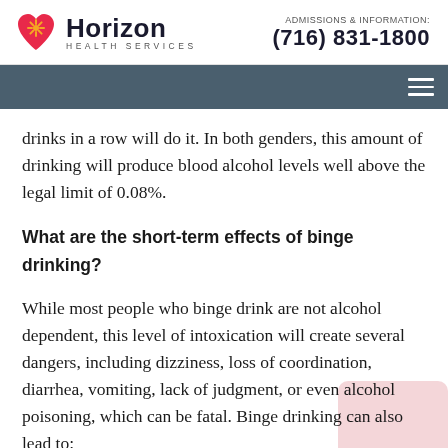Horizon Health Services | ADMISSIONS & INFORMATION: (716) 831-1800
drinks in a row will do it. In both genders, this amount of drinking will produce blood alcohol levels well above the legal limit of 0.08%.
What are the short-term effects of binge drinking?
While most people who binge drink are not alcohol dependent, this level of intoxication will create several dangers, including dizziness, loss of coordination, diarrhea, vomiting, lack of judgment, or even alcohol poisoning, which can be fatal. Binge drinking can also lead to: